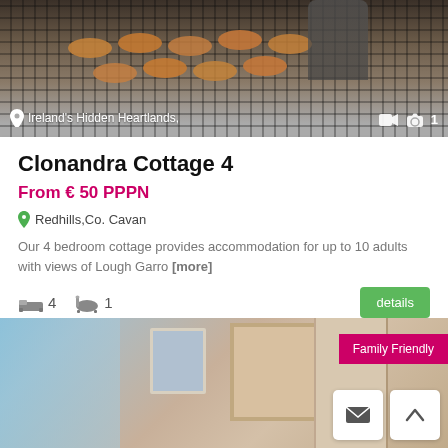[Figure (photo): Outdoor grill with burgers/patties cooking, viewed from above, with person in background]
Ireland's Hidden Heartlands,
Clonandra Cottage 4
From € 50 PPPN
Redhills,Co. Cavan
Our 4 bedroom cottage provides accommodation for up to 10 adults with views of Lough Garro [more]
4  1  details
Helen Leddy
[Figure (photo): Interior of a bedroom/living area with windows, framed art on wall, and view of green landscape outside; Family Friendly badge visible]